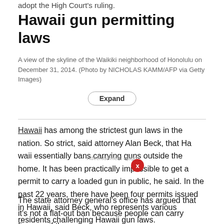adopt the High Court's ruling.
Hawaii gun permitting laws
A view of the skyline of the Waikiki neighborhood of Honolulu on December 31, 2014. (Photo by NICHOLAS KAMM/AFP via Getty Images)
Hawaii has among the strictest gun laws in the nation. So strict, said attorney Alan Beck, that Hawaii essentially bans carrying guns outside the home. It has been practically impossible to get a permit to carry a loaded gun in public, he said. In the past 22 years, there have been four permits issued in Hawaii, said Beck, who represents various residents challenging Hawaii gun laws.
The state attorney general's office has argued that it's not a flat-out ban because people can carry firearms if they